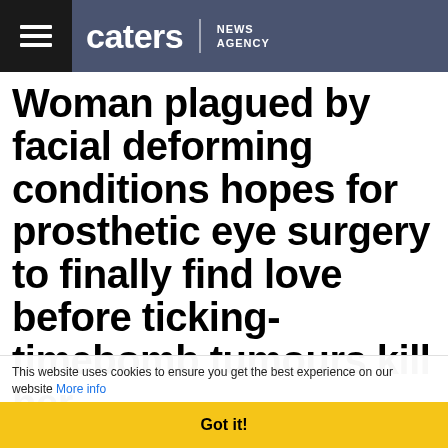caters | NEWS AGENCY
Woman plagued by facial deforming conditions hopes for prosthetic eye surgery to finally find love before ticking-timebomb tumours kill her
[Figure (screenshot): Video thumbnail strip showing 'Woman With Eye Tumours Hopes To...' with play button icon]
This website uses cookies to ensure you get the best experience on our website More info
Got it!